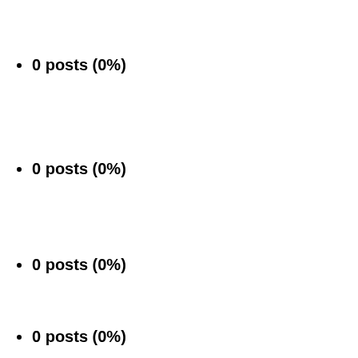0 posts (0%)
0 posts (0%)
0 posts (0%)
0 posts (0%)